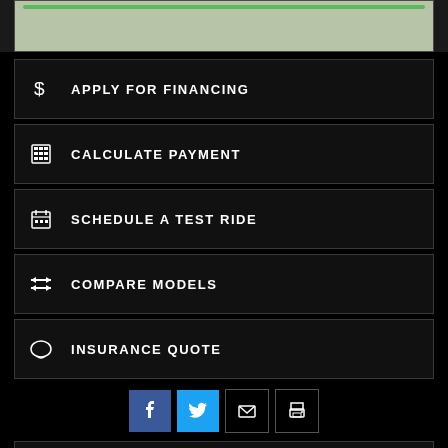[Figure (screenshot): Partial map/image area at top of page with green bar]
APPLY FOR FINANCING
CALCULATE PAYMENT
SCHEDULE A TEST RIDE
COMPARE MODELS
INSURANCE QUOTE
[Figure (infographic): Social share buttons: Facebook, Twitter, Email, Print]
2021 HARLEY-DAVIDSON IRON 1200™ • $10,249